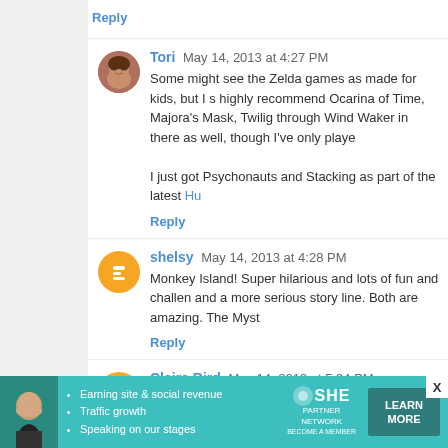Reply
Tori May 14, 2013 at 4:27 PM
Some might see the Zelda games as made for kids, but I s highly recommend Ocarina of Time, Majora's Mask, Twilig through Wind Waker in there as well, though I've only playe
I just got Psychonauts and Stacking as part of the latest Hu
Reply
shelsy May 14, 2013 at 4:28 PM
Monkey Island! Super hilarious and lots of fun and challen and a more serious story line. Both are amazing. The Myst
Reply
Claire Bird May 14, 2013 at 5:34 PM
I would recommend minecraft, though it has basically no s graphics.
There's no gore or anything though, and you can ever
[Figure (infographic): SHE Partner Network advertisement banner with woman photo, bullet points about earning site & social revenue, traffic growth, speaking on our stages, SHE logo, and LEARN MORE button]